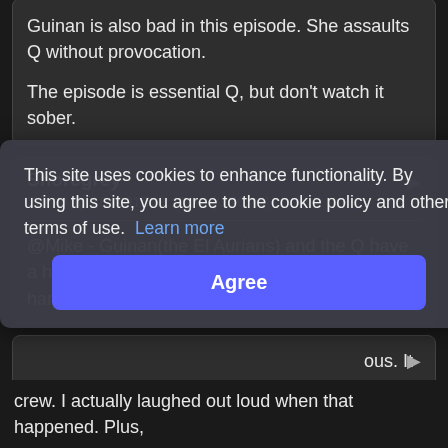Guinan is also bad in this episode. She assaults Q without provocation.

The episode is essential Q, but don't watch it sober.
Shoregrey
Tue, Aug 18, 2015, 8:15pm (UTC -5)
@Mike - Guinan(the El Aurians) and the Q have a history. See "Q Who" Knowing Q and The Q, I hardly think Guinan was unprovoked.
This site uses cookies to enhance functionality. By using this site, you agree to the cookie policy and other terms of use. Learn more
Agree
ous. It
ne
dge
crew. I actually laughed out loud when that happened. Plus,